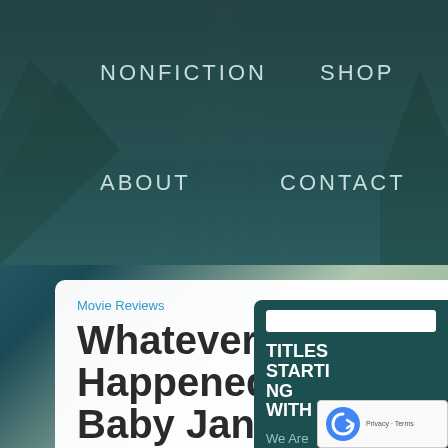[Figure (screenshot): Website navigation menu with dark teal background showing scenic mountain/water landscape. Four nav items: NONFICTION, SHOP, ABOUT, CONTACT in light gray uppercase text.]
NONFICTION
SHOP
ABOUT
CONTACT
Movie Reviews
Whatever Happened to Baby Jane? (1962)
We had just seen the FX Channel's eight-episode
TITLES STARTING WITH W
We Are
The